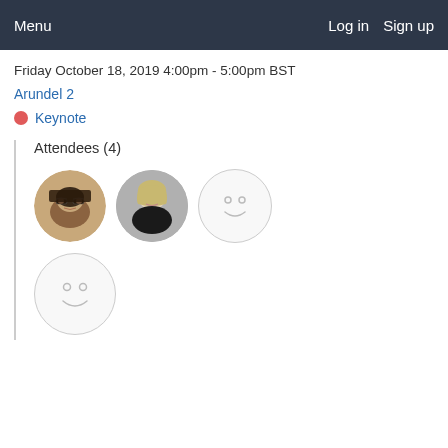Menu  Log in  Sign up
Friday October 18, 2019 4:00pm - 5:00pm BST
Arundel 2
Keynote
Attendees (4)
[Figure (photo): Four attendee avatars: two real photos of people (an Asian woman with glasses, a blonde woman) and two generic smiley face placeholder avatars]